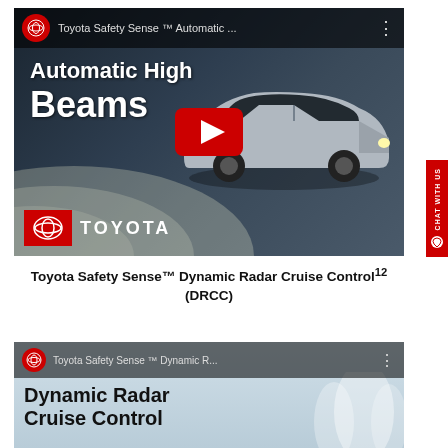[Figure (screenshot): YouTube video thumbnail for Toyota Safety Sense Automatic High Beams, showing a Toyota car with headlight beams on a dark road, with Toyota logo and play button overlay]
Toyota Safety Sense™ Dynamic Radar Cruise Control¹² (DRCC)
[Figure (screenshot): YouTube video thumbnail for Toyota Safety Sense Dynamic Radar Cruise Control, showing winter road scene with text Dynamic Radar Cruise Control]